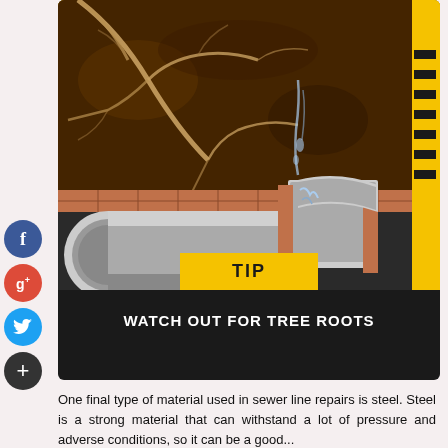[Figure (illustration): Cross-section engineering illustration showing tree roots infiltrating a sewer pipe joint underground, with soil, roots, water leakage, and a cut-away view of the pipe and surrounding earth. A yellow 'TIP' label appears at the bottom of the image.]
WATCH OUT FOR TREE ROOTS
One final type of material used in sewer line repairs is steel. Steel is a strong material that can withstand a lot of pressure and adverse conditions, so it can be a good...